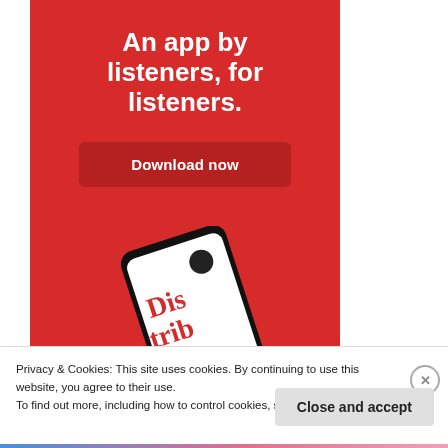[Figure (infographic): Red advertisement banner for a podcast/audio app. White bold text reads 'An app by listeners, for listeners.' with a dark red 'Download now' button. Below shows a smartphone displaying a 'Distributed' podcast app on a red background.]
Privacy & Cookies: This site uses cookies. By continuing to use this website, you agree to their use.
To find out more, including how to control cookies, see here: Cookie Policy
Close and accept